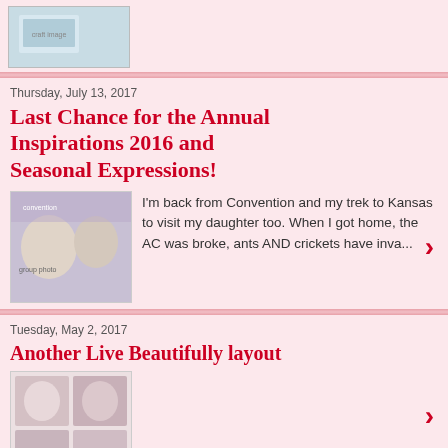[Figure (photo): Thumbnail image of a card or craft project at top of page]
Thursday, July 13, 2017
Last Chance for the Annual Inspirations 2016 and Seasonal Expressions!
[Figure (photo): Group photo of women at a convention holding items]
I'm back from Convention and my trek to Kansas to visit my daughter too. When I got home, the AC was broke, ants AND crickets have inva...
Tuesday, May 2, 2017
Another Live Beautifully layout
[Figure (photo): Scrapbook layout with photos of a smiling young woman]
Monday, May 1, 2017